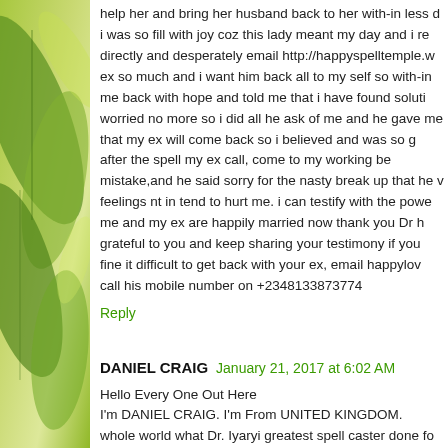[Figure (photo): Green leaves and foliage sidebar decoration on the left side of the page]
help her and bring her husband back to her with-in less d... i was so fill with joy coz this lady meant my day and i re... directly and desperately email http://happyspelltemple.w... ex so much and i want him back all to my self so with-in... me back with hope and told me that i have found soluti... worried no more so i did all he ask of me and he gave me... that my ex will come back so i believed and was so g... after the spell my ex call, come to my working be... mistake,and he said sorry for the nasty break up that he v... feelings nt in tend to hurt me. i can testify with the powe... me and my ex are happily married now thank you Dr h... grateful to you and keep sharing your testimony if you... fine it difficult to get back with your ex, email happylov... call his mobile number on +2348133873774
Reply
DANIEL CRAIG  January 21, 2017 at 6:02 AM
Hello Every One Out Here
I'm DANIEL CRAIG. I'm From UNITED KINGDOM. whole world what Dr. Iyaryi greatest spell caster done fo... My wife left to USA last eight months and there after she...